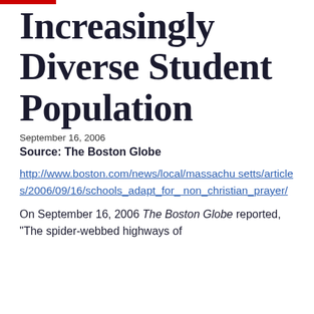Increasingly Diverse Student Population
September 16, 2006
Source: The Boston Globe
http://www.boston.com/news/local/massachusetts/articles/2006/09/16/schools_adapt_for_non_christian_prayer/
On September 16, 2006 The Boston Globe reported, "The spider-webbed highways of